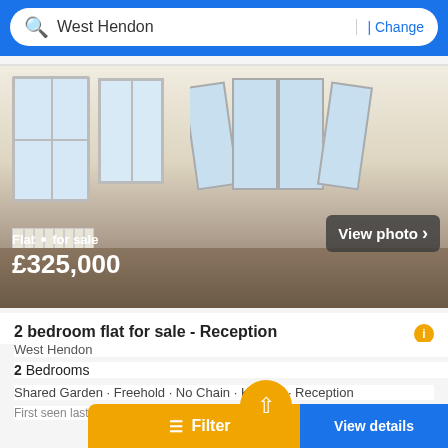West Hendon | Change
[Figure (photo): Interior photo of an empty flat room with large bay windows, white walls, wood floor, and a radiator. Overlaid text shows 'Flat · for sale' and '£325,000'. A 'View photo >' button appears bottom-right.]
2 bedroom flat for sale - Reception
West Hendon
2 Bedrooms
Shared Garden · Freehold · No Chain · Kitchen · Reception
First seen last week on Placebuzz